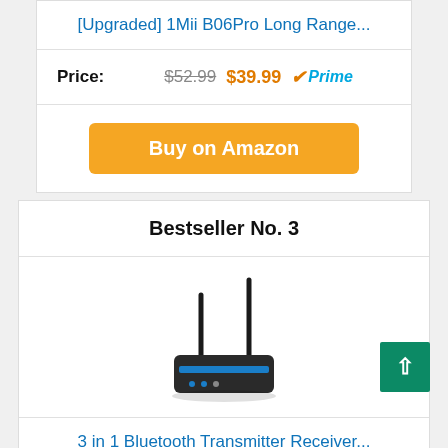[Upgraded] 1Mii B06Pro Long Range...
Price: $52.99 $39.99 Prime
Buy on Amazon
Bestseller No. 3
[Figure (photo): Router/Bluetooth transmitter device with two antennas]
3 in 1 Bluetooth Transmitter Receiver...
Price: $25.99 Prime